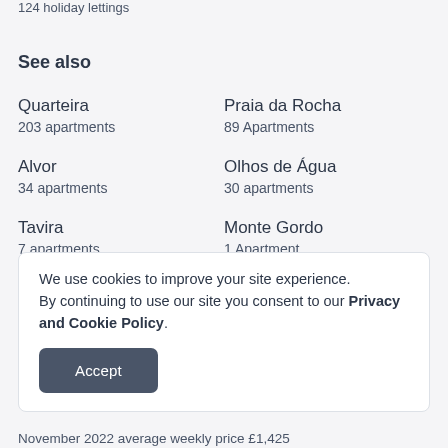124 holiday lettings
See also
Quarteira
203 apartments
Praia da Rocha
89 Apartments
Alvor
34 apartments
Olhos de Água
30 apartments
Tavira
7 apartments
Monte Gordo
1 Apartment
We use cookies to improve your site experience.
By continuing to use our site you consent to our Privacy and Cookie Policy.
[Accept button]
November 2022 average weekly price £1,425